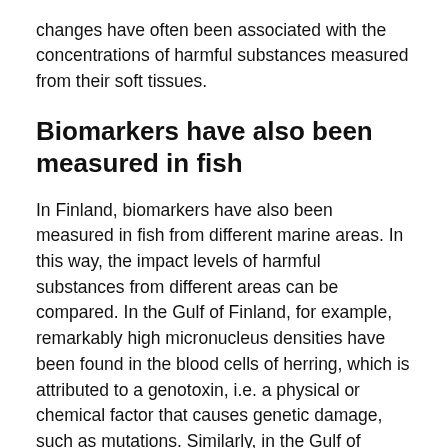changes have often been associated with the concentrations of harmful substances measured from their soft tissues.
Biomarkers have also been measured in fish
In Finland, biomarkers have also been measured in fish from different marine areas. In this way, the impact levels of harmful substances from different areas can be compared. In the Gulf of Finland, for example, remarkably high micronucleus densities have been found in the blood cells of herring, which is attributed to a genotoxin, i.e. a physical or chemical factor that causes genetic damage, such as mutations. Similarly, in the Gulf of Finland, salmon have been found to have a higher biomarker response to contaminants compared to individuals from the Bothnian Sea. Moreover, high